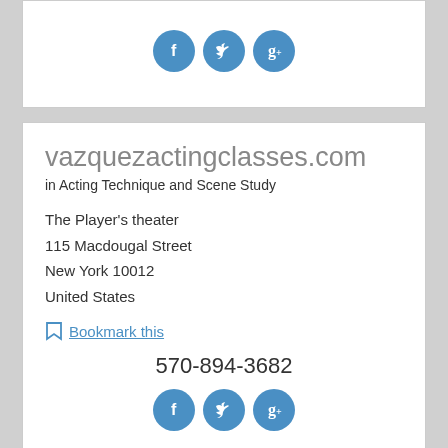[Figure (other): Social media icons (Facebook, Twitter, Google+) in blue circles in top card]
vazquezactingclasses.com
in Acting Technique and Scene Study
The Player's theater
115 Macdougal Street
New York 10012
United States
Bookmark this
570-894-3682
[Figure (other): Social media icons (Facebook, Twitter, Google+) in blue circles in main card]
[Figure (photo): Dark theater interior with stage lights visible on ceiling]